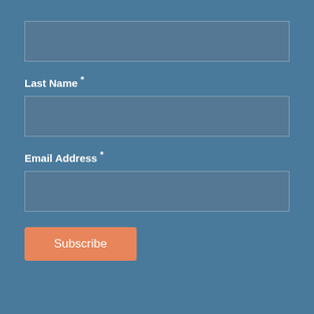[Figure (screenshot): Form input field (empty) for a first name or top field, rendered as a rounded rectangle input box on a steel-blue background.]
Last Name *
[Figure (screenshot): Form input field (empty) for Last Name, rendered as a rounded rectangle input box on a steel-blue background.]
Email Address *
[Figure (screenshot): Form input field (empty) for Email Address, rendered as a rounded rectangle input box on a steel-blue background.]
Subscribe